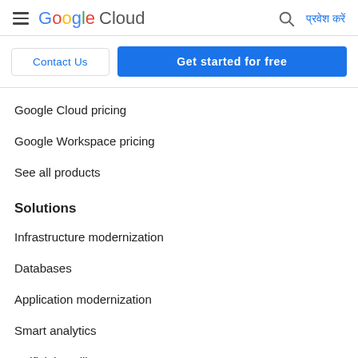Google Cloud — Search — प्रवेश करें
Contact Us
Get started for free
Google Cloud pricing
Google Workspace pricing
See all products
Solutions
Infrastructure modernization
Databases
Application modernization
Smart analytics
Artificial Intelligence
Security